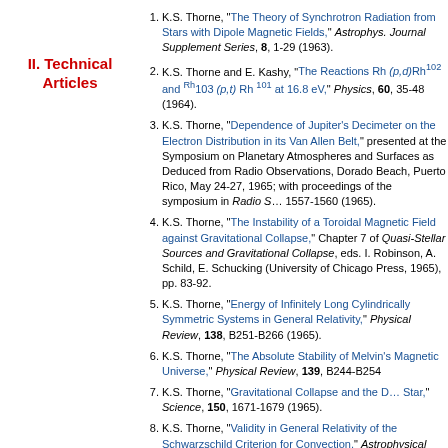II. Technical Articles
K.S. Thorne, "The Theory of Synchrotron Radiation from Stars with Dipole Magnetic Fields," Astrophysical Journal Supplement Series, 8, 1-29 (1963).
K.S. Thorne and E. Kashy, "The Reactions Rh(p,d)Rh102 and Rh103(p,t) Rh 101 at 16.8 eV," Physics, 60, 35-48 (1964).
K.S. Thorne, "Dependence of Jupiter's Decimeter on the Electron Distribution in its Van Allen Belt," presented at the Symposium on Planetary Atmospheres and Surfaces as Deduced from Radio Observations, Dorado Beach, Puerto Rico, May 24-27, 1965 with proceedings of the symposium in Radio S... 1557-1560 (1965).
K.S. Thorne, "The Instability of a Toroidal Magnetic Field against Gravitational Collapse," Chapter 7 of Quasi-Stellar Sources and Gravitational Collapse, eds. I. Robinson, A. Schild, E. Schucking (University of Chicago Press, 1965), pp. 83-92.
K.S. Thorne, "Energy of Infinitely Long Cylindrically Symmetric Systems in General Relativity," Physical Review, 138, B251-B266 (1965).
K.S. Thorne, "The Absolute Stability of Melvin's Magnetic Universe," Physical Review, 139, B244-B254
K.S. Thorne, "Gravitational Collapse and the D... Star," Science, 150, 1671-1679 (1965).
K.S. Thorne, "Validity in General Relativity of the Schwarzschild Criterion for Convection," Astrophysical Journal, 144, 201-205 (1966).